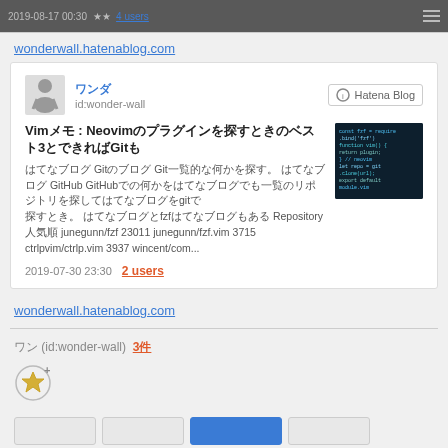2019-08-17 00:30 ★★ 4 users
wonderwall.hatenablog.com
ワンダ
id:wonder-wall
Vimメモ : Neovimのプラグインを探すときのベスト3とできればGitも
はてなブログ GitのGit一覧的な何か。 Repository 人気順 junegunn/fzf 23011 junegunn/fzf.vim 3715 ctrlpvim/ctrlp.vim 3937 wincent/com...
2019-07-30 23:30  2 users
wonderwall.hatenablog.com
ワン (id:wonder-wall)  3件